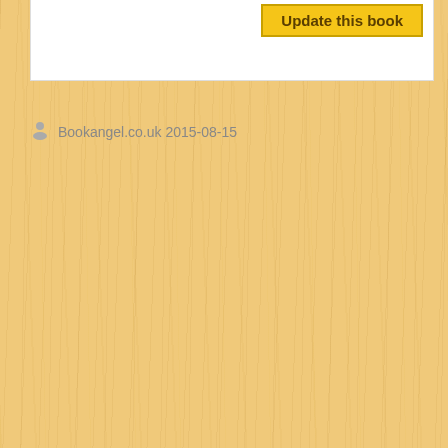[Figure (screenshot): Yellow/amber wood-grain textured background filling the page, with a white card panel at the top containing an 'Update this book' button]
Update this book
Bookangel.co.uk 2015-08-15